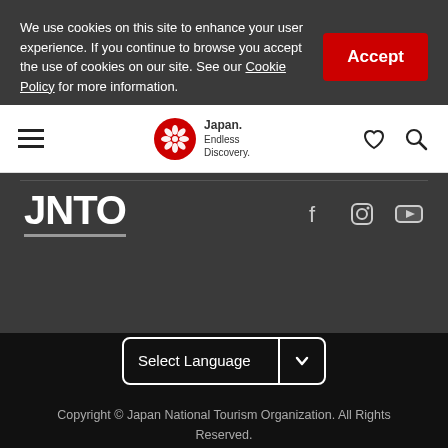We use cookies on this site to enhance your user experience. If you continue to browse you accept the use of cookies on our site. See our Cookie Policy for more information.
Accept
[Figure (logo): Japan National Tourism Organization logo - cherry blossom circle with Japan. Endless Discovery. text]
[Figure (logo): JNTO text logo in white on dark background]
[Figure (infographic): Social media icons: Facebook, Instagram, YouTube]
Select Language
Copyright © Japan National Tourism Organization. All Rights Reserved.